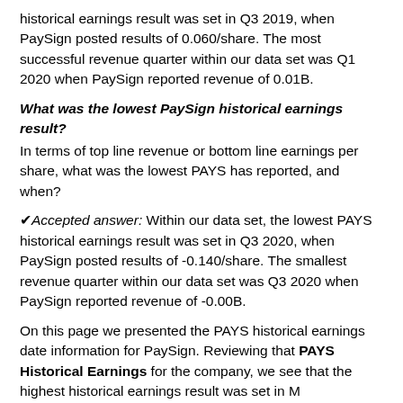historical earnings result was set in Q3 2019, when PaySign posted results of 0.060/share. The most successful revenue quarter within our data set was Q1 2020 when PaySign reported revenue of 0.01B.
What was the lowest PaySign historical earnings result?
In terms of top line revenue or bottom line earnings per share, what was the lowest PAYS has reported, and when?
✔Accepted answer: Within our data set, the lowest PAYS historical earnings result was set in Q3 2020, when PaySign posted results of -0.140/share. The smallest revenue quarter within our data set was Q3 2020 when PaySign reported revenue of -0.00B.
On this page we presented the PAYS historical earnings date information for PaySign. Reviewing that PAYS Historical Earnings for the company, we see that the highest historical earnings result was set in M...